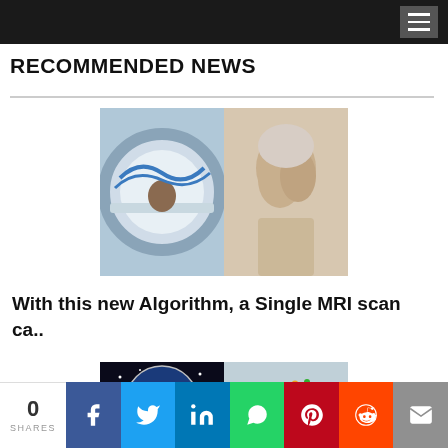RECOMMENDED NEWS
[Figure (photo): Composite image: left side shows a patient lying in an MRI scanner machine; right side shows an elderly woman covering her face with her hands]
With this new Algorithm, a Single MRI scan ca..
[Figure (photo): Composite image: left side shows NASA logo on dark background; right side shows Australian Space Agency logo on light blue background]
0 SHARES | Facebook | Twitter | LinkedIn | WhatsApp | Pinterest | Reddit | Email